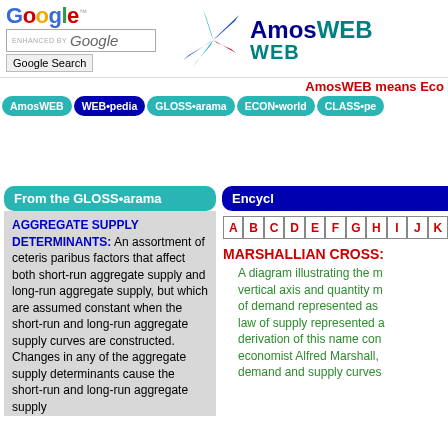[Figure (logo): Google logo with search box and Google Search button]
[Figure (logo): AmosWEB logo with colorful star-like icon and AmosWEB text in dark blue and teal]
AmosWEB means Eco
[Figure (other): Navigation bar with buttons: AmosWEB, WEB•pedia, GLOSS•arama, ECON•world, CLASS•pe]
From the GLOSS•arama
AGGREGATE SUPPLY DETERMINANTS: An assortment of ceteris paribus factors that affect both short-run aggregate supply and long-run aggregate supply, but which are assumed constant when the short-run and long-run aggregate supply curves are constructed. Changes in any of the aggregate supply determinants cause the short-run and long-run aggregate supply
Encycl
[Figure (other): Alphabet navigation row: A B C D E F G H I J K]
MARSHALLIAN CROSS:
A diagram illustrating the m vertical axis and quantity m of demand represented as law of supply represented a derivation of this name con economist Alfred Marshall, demand and supply curves